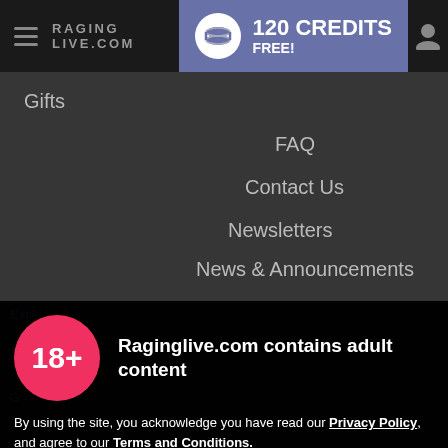RAGING LIVE.COM | 120 CREDITS FREE!
Gifts
FAQ
Contact Us
Newsletters
News & Announcements
Raginglive.com contains adult content
By using the site, you acknowledge you have read our Privacy Policy, and agree to our Terms and Conditions.
We use cookies to optimize your experience, analyze traffic, and deliver more personalized service. To learn more, please see our Privacy Policy.
I AGREE